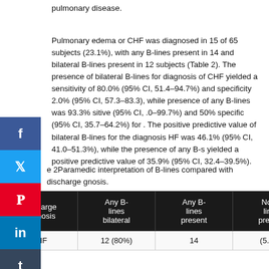pulmonary disease.
Pulmonary edema or CHF was diagnosed in 15 of 65 subjects (23.1%), with any B-lines present in 14 and bilateral B-lines present in 12 subjects (Table 2). The presence of bilateral B-lines for diagnosis of CHF yielded a sensitivity of 80.0% (95% CI, 51.4–94.7%) and specificity 2.0% (95% CI, 57.3–83.3), while presence of any B-lines was 93.3% sitive (95% CI, .0–99.7%) and 50% specific (95% CI, 35.7–64.2%) for . The positive predictive value of bilateral B-lines for the diagnosis HF was 46.1% (95% CI, 41.0–51.3%), while the presence of any B-s yielded a positive predictive value of 35.9% (95% CI, 32.4–39.5%).
e 2Paramedic interpretation of B-lines compared with discharge gnosis.
| Discharge diagnosis | Any B-lines bilateral | Any B-lines present | No B-lines present |
| --- | --- | --- | --- |
| CHF | 12 (80%) | 14 | (5.7%) |